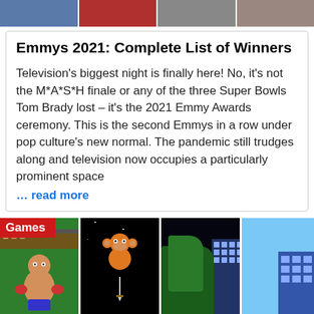[Figure (photo): Top strip of four images showing people/faces cropped]
Emmys 2021: Complete List of Winners
Television's biggest night is finally here! No, it's not the M*A*S*H finale or any of the three Super Bowls Tom Brady lost – it's the 2021 Emmy Awards ceremony. This is the second Emmys in a row under pop culture's new normal. The pandemic still trudges along and television now occupies a particularly prominent space
… read more
[Figure (screenshot): Games section strip showing four retro video game screenshots including a boxing game (Punch-Out style), a vertical shooter, a side-scrolling game with buildings, and a blue sky scene. Red 'Games' label overlay in top-left.]